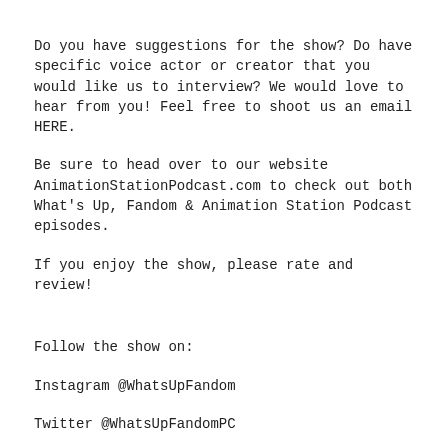Do you have suggestions for the show? Do have specific voice actor or creator that you would like us to interview? We would love to hear from you! Feel free to shoot us an email HERE.
Be sure to head over to our website AnimationStationPodcast.com to check out both What's Up, Fandom & Animation Station Podcast episodes.
If you enjoy the show, please rate and review!
Follow the show on:
Instagram @WhatsUpFandom
Twitter @WhatsUpFandomPC
YouTube Animation Station Podcast
Follow Josh @JoshLCain